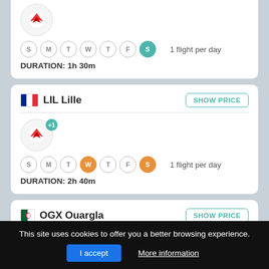[Figure (screenshot): Partial flight card showing airline logo (red arrow symbol), days S M T W T F S with S highlighted teal, 1 flight per day, DURATION: 1h 30m]
LIL Lille
SHOW PRICE
1 flight per day
DURATION: 2h 40m
OGX Ouargla
SHOW PRICE
This site uses cookies to offer you a better browsing experience.
I accept
More information